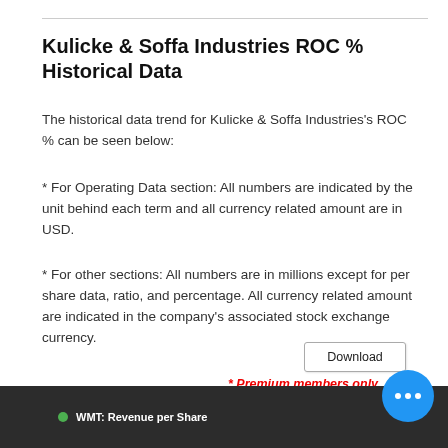Kulicke & Soffa Industries ROC % Historical Data
The historical data trend for Kulicke & Soffa Industries's ROC % can be seen below:
* For Operating Data section: All numbers are indicated by the unit behind each term and all currency related amount are in USD.
* For other sections: All numbers are in millions except for per share data, ratio, and percentage. All currency related amount are indicated in the company's associated stock exchange currency.
Download
* Premium members only.
[Figure (screenshot): Dark background screenshot showing WMT: Revenue per Share chart label at the bottom]